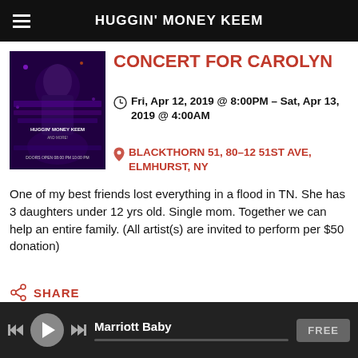HUGGIN' MONEY KEEM
CONCERT FOR CAROLYN
Fri, Apr 12, 2019 @ 8:00PM – Sat, Apr 13, 2019 @ 4:00AM
BLACKTHORN 51, 80-12 51ST AVE, ELMHURST, NY
[Figure (photo): Concert for Carolyn event flyer featuring a performer and event details for Huggin' Money Keem]
One of my best friends lost everything in a flood in TN. She has 3 daughters under 12 yrs old. Single mom. Together we can help an entire family. (All artist(s) are invited to perform per $50 donation)
SHARE
View on Google Maps
Marriott Baby   FREE